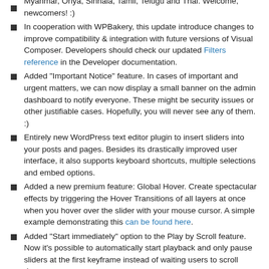Myanmar, Oriya, Sinhala, Tamil, Telugu and Thai. Welcome, newcomers! :)
In cooperation with WPBakery, this update introduce changes to improve compatibility & integration with future versions of Visual Composer. Developers should check our updated Filters reference in the Developer documentation.
Added "Important Notice" feature. In cases of important and urgent matters, we can now display a small banner on the admin dashboard to notify everyone. These might be security issues or other justifiable cases. Hopefully, you will never see any of them. :)
Entirely new WordPress text editor plugin to insert sliders into your posts and pages. Besides its drastically improved user interface, it also supports keyboard shortcuts, multiple selections and embed options.
Added a new premium feature: Global Hover. Create spectacular effects by triggering the Hover Transitions of all layers at once when you hover over the slider with your mouse cursor. A simple example demonstrating this can be found here.
Added "Start immediately" option to the Play by Scroll feature. Now it's possible to automatically start playback and only pause sliders at the first keyframe instead of waiting users to scroll down.
Added option to override the starting slide of sliders in the